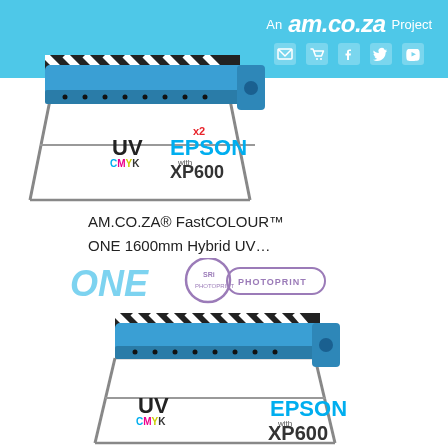An am.co.za Project
[Figure (photo): AM.CO.ZA FastCOLOUR wide format UV printer with dual Epson XP600 print heads, shown on metal stand with black and white striped roller, UV CMYK color labels, and x2 EPSON with XP600 branding]
AM.CO.ZA® FastCOLOUR™
ONE 1600mm Hybrid UV…
[Figure (photo): AM.CO.ZA FastCOLOUR ONE 1600mm Hybrid UV single Epson XP600 wide format printer on metal stand, with ONE SRi PHOTOPRINT logo overlay, UV CMYK label, and EPSON with XP600 branding]